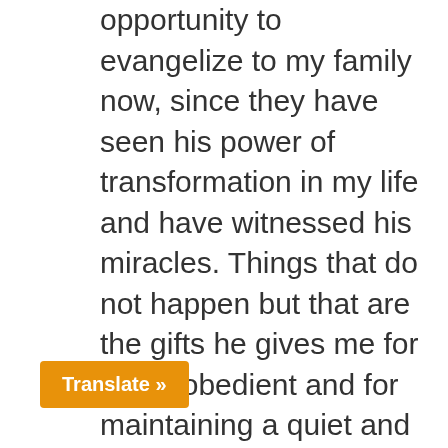opportunity to evangelize to my family now, since they have seen his power of transformation in my life and have witnessed his miracles. Things that do not happen but that are the gifts he gives me for being obedient and for maintaining a quiet and gentle spirit.

In December 2017 I had the opportunity to participate in the Nicaraguan Women's Retreat, where for the first time I was able to share with so many brides. There, I met Lota, our Spanish Minister and Fri… nter Tara. I still remember the …that I shed just seeing myself
Translate »